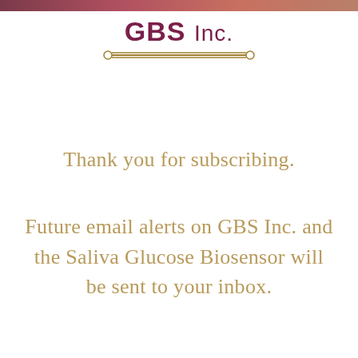[Figure (logo): GBS Inc. logo with bold purple/maroon text and gold double-line rule decoration underneath]
Thank you for subscribing.
Future email alerts on GBS Inc. and the Saliva Glucose Biosensor will be sent to your inbox.